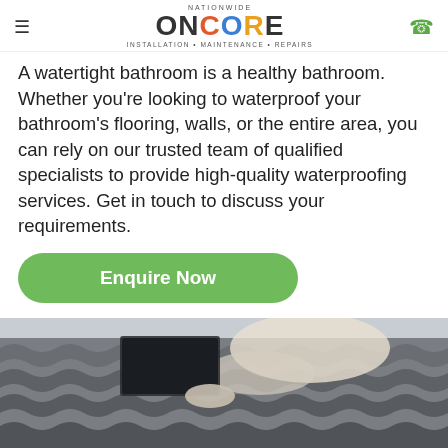NATIONWIDE ONCORE — INSTALLATION • MAINTENANCE • REPAIRS
A watertight bathroom is a healthy bathroom. Whether you're looking to waterproof your bathroom's flooring, walls, or the entire area, you can rely on our trusted team of qualified specialists to provide high-quality waterproofing services. Get in touch to discuss your requirements.
Enquire Now
[Figure (photo): A worker on a tiled roof performing installation or repair work]